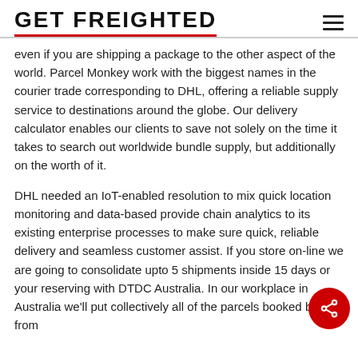GET FREIGHTED
even if you are shipping a package to the other aspect of the world. Parcel Monkey work with the biggest names in the courier trade corresponding to DHL, offering a reliable supply service to destinations around the globe. Our delivery calculator enables our clients to save not solely on the time it takes to search out worldwide bundle supply, but additionally on the worth of it.
DHL needed an IoT-enabled resolution to mix quick location monitoring and data-based provide chain analytics to its existing enterprise processes to make sure quick, reliable delivery and seamless customer assist. If you store on-line we are going to consolidate upto 5 shipments inside 15 days or your reserving with DTDC Australia. In our workplace in Australia we'll put collectively all of the parcels booked by you from